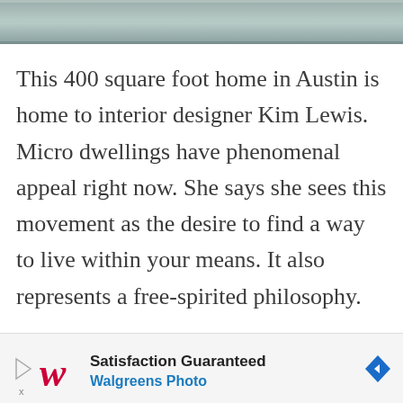[Figure (photo): Top portion of a photo showing what appears to be a roofline or exterior surface of a small home, partially cropped at the top of the page.]
This 400 square foot home in Austin is home to interior designer Kim Lewis. Micro dwellings have phenomenal appeal right now. She says she sees this movement as the desire to find a way to live within your means. It also represents a free-spirited philosophy.
Thi... and...
[Figure (other): Walgreens Photo advertisement banner at bottom of page with text 'Satisfaction Guaranteed' and 'Walgreens Photo', a stylized W logo in red, a play button icon, and a blue diamond arrow icon.]